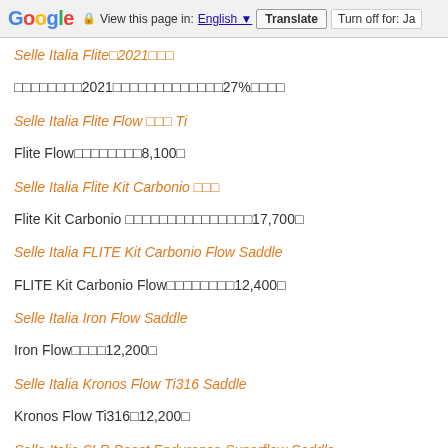Google | View this page in: English | Translate | Turn off for: Ja
Selle Italia Flite□2021□□□
□□□□□□□□2021□□□□□□□□□□□□□27%□□□□
Selle Italia Flite Flow □□□ Ti
Flite Flow□□□□□□□□8,100□
Selle Italia Flite Kit Carbonio □□□
Flite Kit Carbonio □□□□□□□□□□□□□□□17,700□
Selle Italia FLITE Kit Carbonio Flow Saddle
FLITE Kit Carbonio Flow□□□□□□□□12,400□
Selle Italia Iron Flow Saddle
Iron Flow□□□□12,200□
Selle Italia Kronos Flow Ti316 Saddle
Kronos Flow Ti316□12,200□
Selle Italia SLR Boost Endurance Superflow Saddle